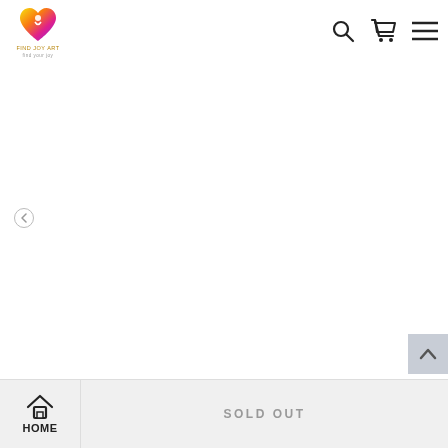FIND JOY ART — navigation header with logo, search, cart, and menu icons
[Figure (other): Large white empty product image area with a small circular left-arrow navigation button and a scroll-to-top button in the bottom right corner]
The Wilderness Beyond
HOME | SOLD OUT